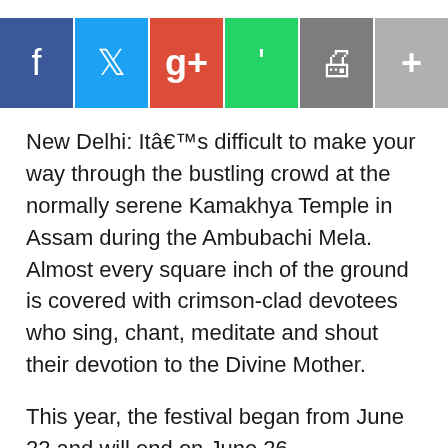[Figure (other): Social media sharing buttons: Facebook (blue), Twitter (cyan), Google+ (red), WhatsApp (green), Print (grey), More (light grey)]
New Delhi: Itâ€™s difficult to make your way through the bustling crowd at the normally serene Kamakhya Temple in Assam during the Ambubachi Mela. Almost every square inch of the ground is covered with crimson-clad devotees who sing, chant, meditate and shout their devotion to the Divine Mother.
This year, the festival began from June 22 and will end on June 26.
Ambubachi Mela, also referred to as the Tantric Fertility Festival, is a yearly four-day festival celebrated during the monsoon season. It is by far, the most important